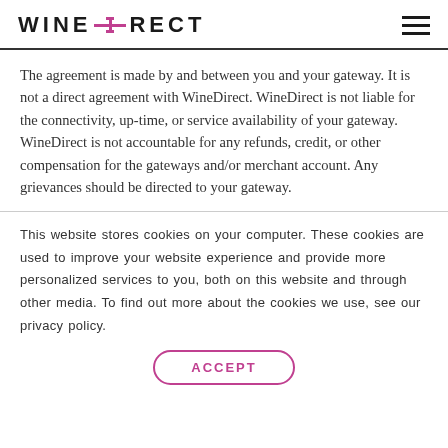WINEDIRECT
The agreement is made by and between you and your gateway. It is not a direct agreement with WineDirect. WineDirect is not liable for the connectivity, up-time, or service availability of your gateway. WineDirect is not accountable for any refunds, credit, or other compensation for the gateways and/or merchant account. Any grievances should be directed to your gateway.
This website stores cookies on your computer. These cookies are used to improve your website experience and provide more personalized services to you, both on this website and through other media. To find out more about the cookies we use, see our privacy policy.
ACCEPT